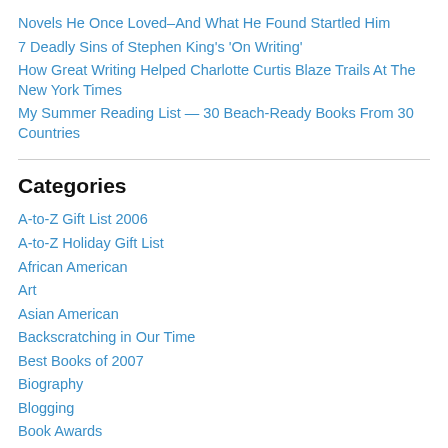Novels He Once Loved–And What He Found Startled Him
7 Deadly Sins of Stephen King's 'On Writing'
How Great Writing Helped Charlotte Curtis Blaze Trails At The New York Times
My Summer Reading List — 30 Beach-Ready Books From 30 Countries
Categories
A-to-Z Gift List 2006
A-to-Z Holiday Gift List
African American
Art
Asian American
Backscratching in Our Time
Best Books of 2007
Biography
Blogging
Book Awards
Jan the Hungarian Predicts